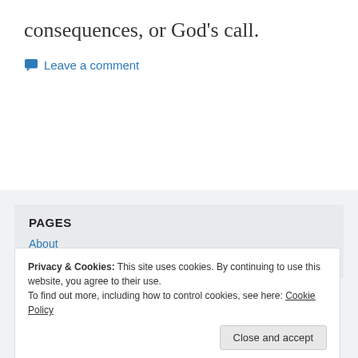consequences, or God’s call.
Leave a comment
PAGES
About
Eschatology
Privacy & Cookies: This site uses cookies. By continuing to use this website, you agree to their use.
To find out more, including how to control cookies, see here: Cookie Policy
Close and accept
Revelation-10